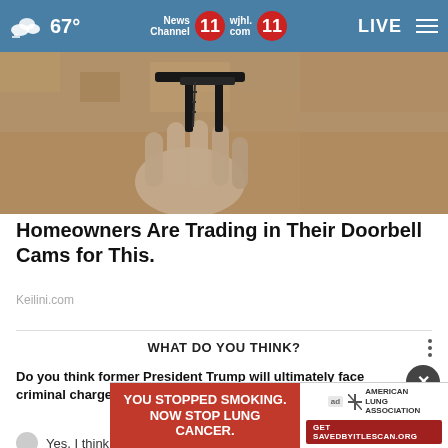67° News Channel 11 wjhl.com 11 LIVE
[Figure (photo): Sepia-toned photo of a hand reaching up to touch or ring a doorbell mounted on a textured concrete wall]
Homeowners Are Trading in Their Doorbell Cams for This.
Keilini.com
WHAT DO YOU THINK?
Do you think former President Trump will ultimately face criminal charges for his handling of classified documents?
[Figure (infographic): Advertisement banner: YOU STOPPED SMOKING. NOW STOP LUNG CANCER. with American Lung Association logo and Get SAVEDBYITLESCAN.ORG button]
Yes, I think so.